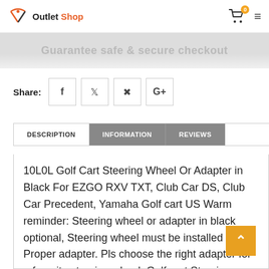Outlet Shop
Guarantee safe & secure checkout
Share:
DESCRIPTION  INFORMATION  REVIEWS
10L0L Golf Cart Steering Wheel Or Adapter in Black For EZGO RXV TXT, Club Car DS, Club Car Precedent, Yamaha Golf cart US Warm reminder: Steering wheel or adapter in black optional, Steering wheel must be installed with a Proper adapter. Pls choose the right adapter for a favorite steering wheel. Golf cart Steering wheel Enhanced overall appearance of the stock golf cart steering wheel. Must be installed